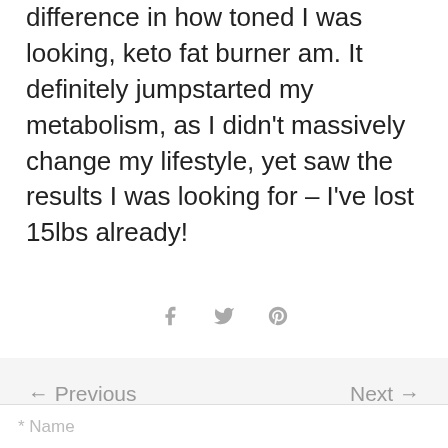difference in how toned I was looking, keto fat burner am. It definitely jumpstarted my metabolism, as I didn't massively change my lifestyle, yet saw the results I was looking for – I've lost 15lbs already!
[Figure (other): Social share icons: Facebook (f), Twitter (bird), Pinterest (P)]
← Previous    Next →
Leave a comment
* Name